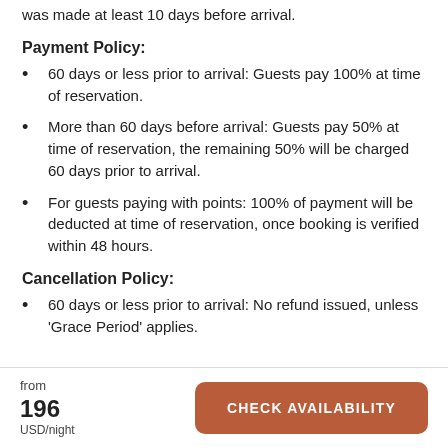was made at least 10 days before arrival.
Payment Policy:
60 days or less prior to arrival: Guests pay 100% at time of reservation.
More than 60 days before arrival: Guests pay 50% at time of reservation, the remaining 50% will be charged 60 days prior to arrival.
For guests paying with points: 100% of payment will be deducted at time of reservation, once booking is verified within 48 hours.
Cancellation Policy:
60 days or less prior to arrival: No refund issued, unless 'Grace Period' applies.
from 196 USD/night CHECK AVAILABILITY